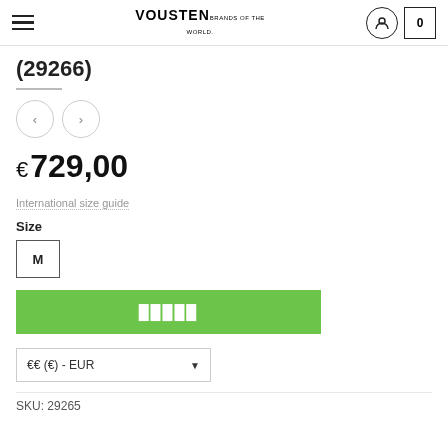VOUSTEN BRANDS OF THE WORLD.
(29266)
€ 729,00
International size guide
Size
M
█████ (add to cart button)
🔲 (€) - EUR
SKU: 29265